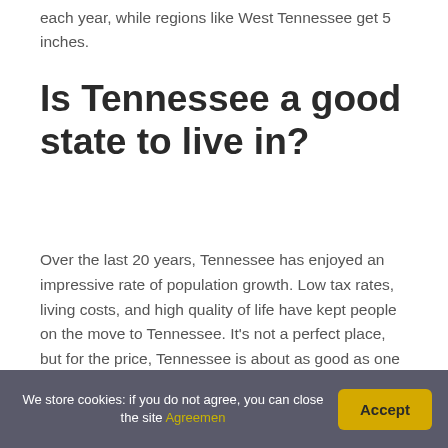each year, while regions like West Tennessee get 5 inches.
Is Tennessee a good state to live in?
Over the last 20 years, Tennessee has enjoyed an impressive rate of population growth. Low tax rates, living costs, and high quality of life have kept people on the move to Tennessee. It's not a perfect place, but for the price, Tennessee is about as good as one can get.
Does Tennessee get
We store cookies: if you do not agree, you can close the site Agreemen